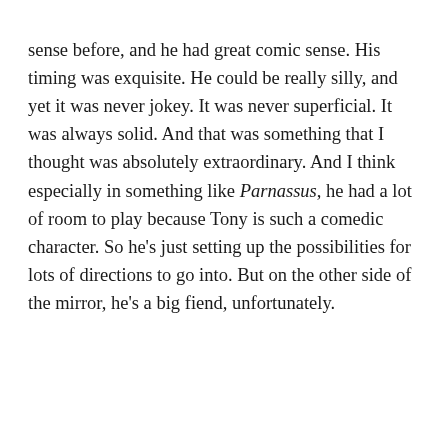sense before, and he had great comic sense. His timing was exquisite. He could be really silly, and yet it was never jokey. It was never superficial. It was always solid. And that was something that I thought was absolutely extraordinary. And I think especially in something like Parnassus, he had a lot of room to play because Tony is such a comedic character. So he's just setting up the possibilities for lots of directions to go into. But on the other side of the mirror, he's a big fiend, unfortunately.